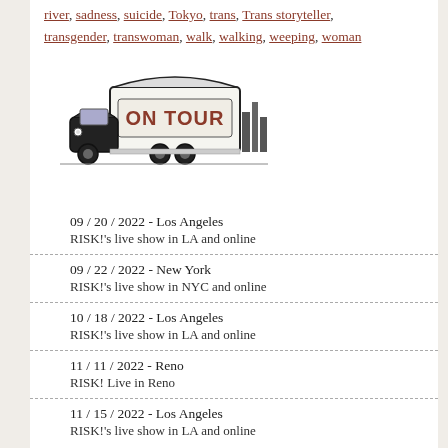river, sadness, suicide, Tokyo, trans, Trans storyteller, transgender, transwoman, walk, walking, weeping, woman
[Figure (illustration): A retro-style illustration of a black truck pulling a trailer with the text 'ON TOUR' in red letters, with a city skyline silhouette on the right.]
09 / 20 / 2022 - Los Angeles
RISK!'s live show in LA and online
09 / 22 / 2022 - New York
RISK!'s live show in NYC and online
10 / 18 / 2022 - Los Angeles
RISK!'s live show in LA and online
11 / 11 / 2022 - Reno
RISK! Live in Reno
11 / 15 / 2022 - Los Angeles
RISK!'s live show in LA and online